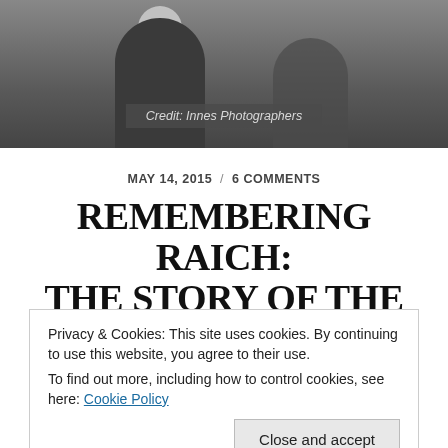[Figure (photo): Black and white photograph showing two people, one holding a ball, cropped at top]
Credit: Innes Photographers
MAY 14, 2015 / 6 COMMENTS
REMEMBERING RAICH: THE STORY OF THE SILVER FOX
[Figure (photo): Black and white photograph, partial view, bottom of page]
Privacy & Cookies: This site uses cookies. By continuing to use this website, you agree to their use.
To find out more, including how to control cookies, see here: Cookie Policy
Close and accept